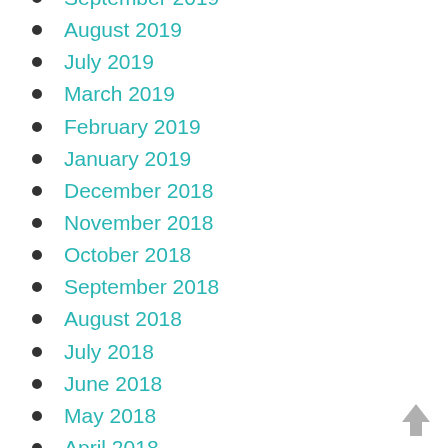September 2019
August 2019
July 2019
March 2019
February 2019
January 2019
December 2018
November 2018
October 2018
September 2018
August 2018
July 2018
June 2018
May 2018
April 2018
March 2018
February 2018
[Figure (illustration): Gray upward arrow icon in bottom-right corner]